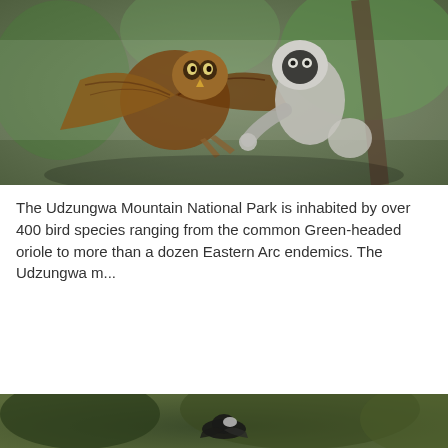[Figure (photo): A large owl or eagle attacking a monkey (langur) in a forested environment — Udzungwa Mountain National Park wildlife scene]
The Udzungwa Mountain National Park is inhabited by over 400 bird species ranging from the common Green-headed oriole to more than a dozen Eastern Arc endemics. The Udzungwa m...
View Details
[Figure (photo): Partial view of a bird in a forested setting — second card, partially visible at bottom of page]